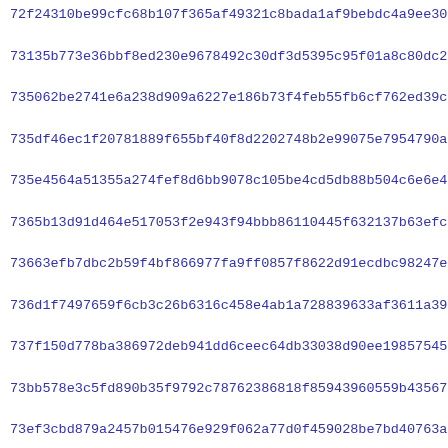72f24310be99cfc68b107f365af49321c8bada1af9bebdc4a9ee300b2036f
73135b773e36bbf8ed230e9678492c30df3d5395c95f01a8c80dc2c44373f
735062be2741e6a238d909a6227e186b73f4feb55fb6cf762ed39cdfe5e96
735df46ec1f20781889f655bf40f8d2202748b2e99075e7954790a2f511fb
735e4564a51355a274fef8d6bb9078c105be4cd5db88b504c6e6e4d7284b7
7365b13d91d464e517053f2e943f94bbb86110445f632137b63efc09d6ad3
73663efb7dbc2b59f4bf866977fa9ff0857f8622d91ecdbc98247e9f3d23a
736d1f7497659f6cb3c26b6316c458e4ab1a728839633af3611a39395c1b6
737f150d778ba386972deb941dd6ceec64db33038d90ee1985754588e0ddc
73bb578e3c5fd890b35f9792c78762386818f85943960559b43567cee7a3c
73ef3cbd879a2457b015476e929f062a77d0f459028be7bd40763a6a75d75